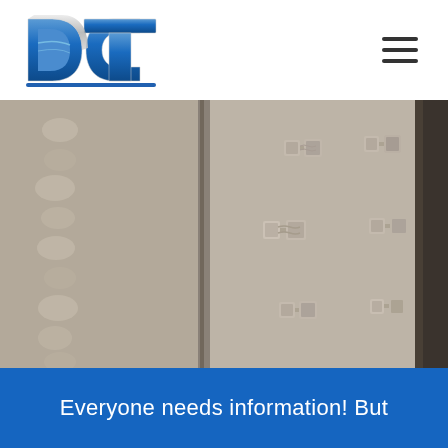[Figure (logo): DCT company logo with blue and silver letters on white background]
[Figure (photo): Close-up sepia/monochrome photo of industrial metal plates with bolts and nuts fastened along the edges]
Everyone needs information! But